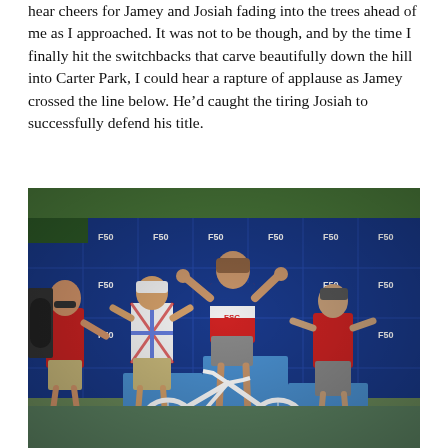hear cheers for Jamey and Josiah fading into the trees ahead of me as I approached. It was not to be though, and by the time I finally hit the switchbacks that carve beautifully down the hill into Carter Park, I could hear a rapture of applause as Jamey crossed the line below. He'd caught the tiring Josiah to successfully defend his title.
[Figure (photo): Podium ceremony photo at a mountain bike race. Four people stand in front of a blue sponsor backdrop with F50 and other logos. The winner stands on the highest podium block in a red, white and blue jersey with arms raised. A white mountain bike is in the foreground.]